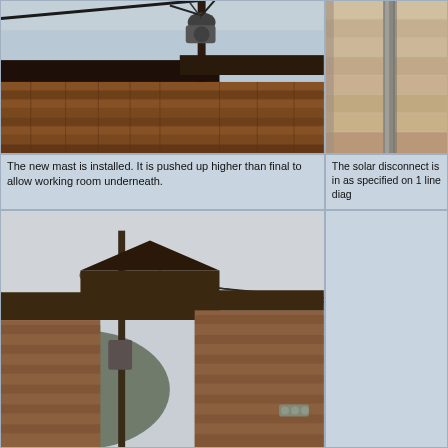[Figure (photo): Close-up photo of a new service mast installed at roofline of a wood-shingled building, showing electrical conduit and utility connections near the eave, against a light sky background.]
[Figure (photo): Close-up photo showing wood siding and a metal conduit or pipe mounted on the exterior of a building.]
The new mast is installed. It is pushed up higher than final to allow working room underneath.
The solar disconnect is in as specified on 1 line diag
[Figure (photo): Wide-angle photo showing the exterior of a wood-shingled building with a peaked roof, utility pole with wires in the foreground, and hilly background.]
[Figure (photo): Right side partial photo area, appears to show building exterior or equipment detail, mostly obscured/cut off.]